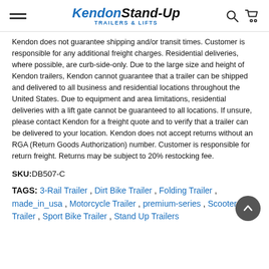Kendon Stand-Up Trailers & Lifts
Kendon does not guarantee shipping and/or transit times. Customer is responsible for any additional freight charges. Residential deliveries, where possible, are curb-side-only. Due to the large size and height of Kendon trailers, Kendon cannot guarantee that a trailer can be shipped and delivered to all business and residential locations throughout the United States. Due to equipment and area limitations, residential deliveries with a lift gate cannot be guaranteed to all locations. If unsure, please contact Kendon for a freight quote and to verify that a trailer can be delivered to your location. Kendon does not accept returns without an RGA (Return Goods Authorization) number. Customer is responsible for return freight. Returns may be subject to 20% restocking fee.
SKU: DB507-C
TAGS: 3-Rail Trailer , Dirt Bike Trailer , Folding Trailer , made_in_usa , Motorcycle Trailer , premium-series , Scooter Trailer , Sport Bike Trailer , Stand Up Trailers